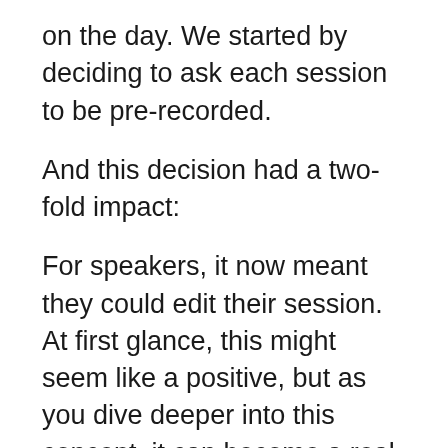on the day. We started by deciding to ask each session to be pre-recorded.
And this decision had a two-fold impact:
For speakers, it now meant they could edit their session. At first glance, this might seem like a positive, but as you dive deeper into this concept, it can become a real issue. When we present live, if we sneeze midway through, we have no option but to carry on. When pre-recording, the temptation is to edit that sneeze out. For some, this might not be an issue; for others, this can become a huge mountain to climb